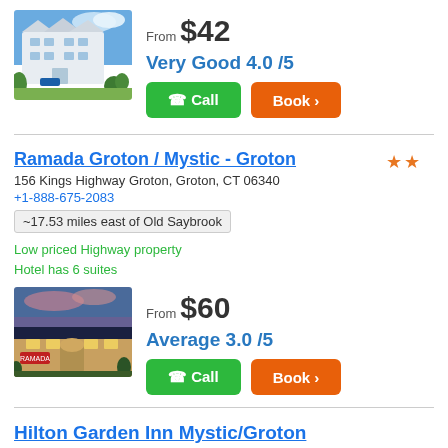[Figure (photo): Photo of a white multi-story hotel building with blue sky and trees in front]
From $42
Very Good 4.0 /5
Call
Book >
Ramada Groton / Mystic - Groton
156 Kings Highway Groton, Groton, CT 06340
+1-888-675-2083
~17.53 miles east of Old Saybrook
Low priced Highway property
Hotel has 6 suites
[Figure (photo): Photo of Ramada hotel exterior at dusk with warm lighting and trees]
From $60
Average 3.0 /5
Call
Book >
Hilton Garden Inn Mystic/Groton